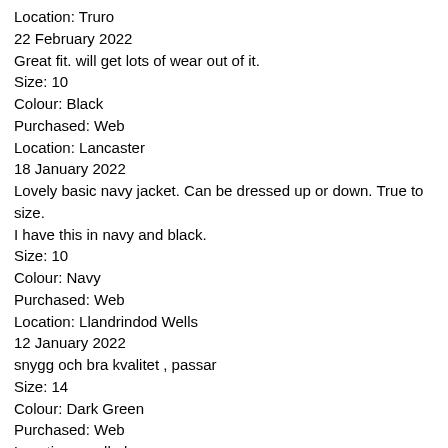Location: Truro
22 February 2022
Great fit. will get lots of wear out of it.
Size: 10
Colour: Black
Purchased: Web
Location: Lancaster
18 January 2022
Lovely basic navy jacket. Can be dressed up or down. True to size. I have this in navy and black.
Size: 10
Colour: Navy
Purchased: Web
Location: Llandrindod Wells
12 January 2022
snygg och bra kvalitet , passar
Size: 14
Colour: Dark Green
Purchased: Web
Location: ngelholm
28 December 2021
A versatile jacket that can be worn smart or casual. Fabric is great which makes the jacket easy to wear, will buy again in other colours as the price is very competitive
Size: 16